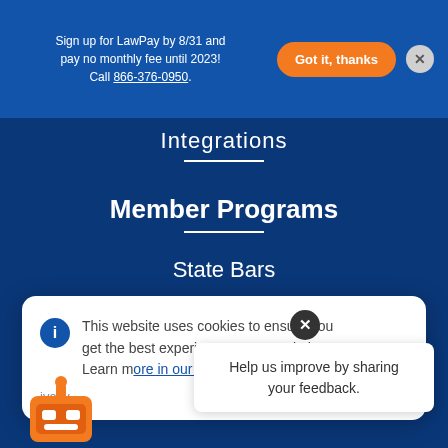Sign up for LawPay by 8/31 and pay no monthly fee until 2023! Call 866-376-0950.
Integrations
Member Programs
State Bars
Local & Specialty Bars
This website uses cookies to ensure you get the best experience on our website. Learn more in our Cookies and Privacy...
Dismiss
Help us improve by sharing your feedback.
Support Center